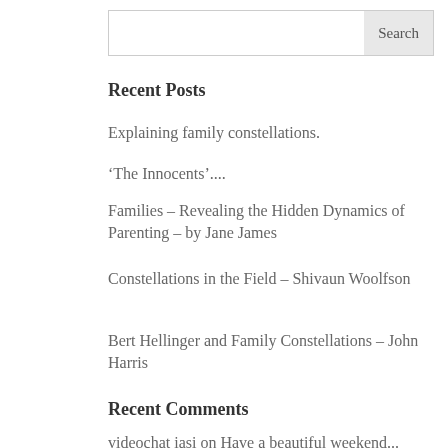Recent Posts
Explaining family constellations.
‘The Innocents’....
Families – Revealing the Hidden Dynamics of Parenting – by Jane James
Constellations in the Field – Shivaun Woolfson
Bert Hellinger and Family Constellations – John Harris
Recent Comments
videochat iasi on Have a beautiful weekend...